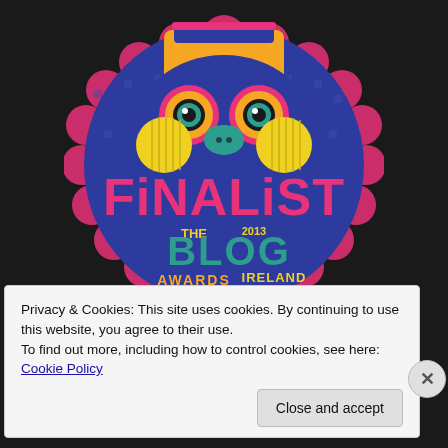[Figure (illustration): Colorful owl-themed badge for 'The Blog Awards Ireland 2013 Finalist'. The badge features a stylized decorative owl face on a dark blue/purple circular background with pink scalloped edges, the word FINALIST in large pink letters, and below it 'The Blog Awards Ireland 2013' in teal and yellow text. The background is dark/black.]
Privacy & Cookies: This site uses cookies. By continuing to use this website, you agree to their use.
To find out more, including how to control cookies, see here: Cookie Policy
Close and accept